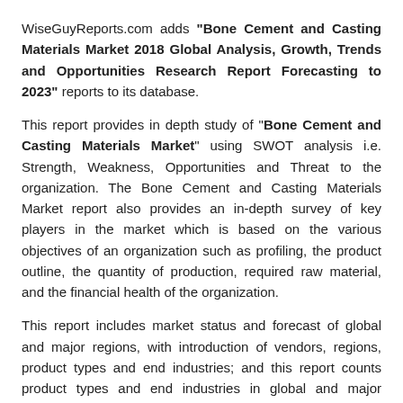WiseGuyReports.com adds "Bone Cement and Casting Materials Market 2018 Global Analysis, Growth, Trends and Opportunities Research Report Forecasting to 2023" reports to its database.
This report provides in depth study of "Bone Cement and Casting Materials Market" using SWOT analysis i.e. Strength, Weakness, Opportunities and Threat to the organization. The Bone Cement and Casting Materials Market report also provides an in-depth survey of key players in the market which is based on the various objectives of an organization such as profiling, the product outline, the quantity of production, required raw material, and the financial health of the organization.
This report includes market status and forecast of global and major regions, with introduction of vendors, regions, product types and end industries; and this report counts product types and end industries in global and major regions.
Global Bone Cement and Casting Materials market competition by top manufacturers, with production, price, revenue (value) and market share for each manufacturer; the top players including